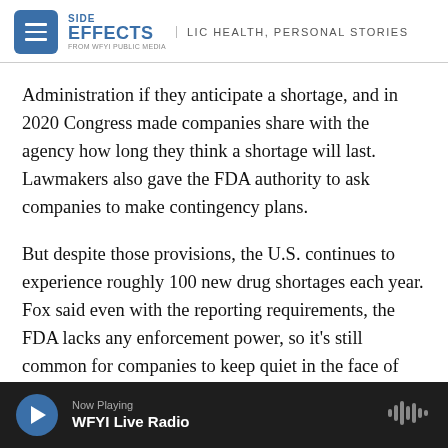SIDE EFFECTS | PUBLIC HEALTH, PERSONAL STORIES | FROM WFYI PUBLIC MEDIA
Administration if they anticipate a shortage, and in 2020 Congress made companies share with the agency how long they think a shortage will last. Lawmakers also gave the FDA authority to ask companies to make contingency plans.
But despite those provisions, the U.S. continues to experience roughly 100 new drug shortages each year. Fox said even with the reporting requirements, the FDA lacks any enforcement power, so it’s still common for companies to keep quiet in the face of potential shortages.
Now Playing | WFYI Live Radio